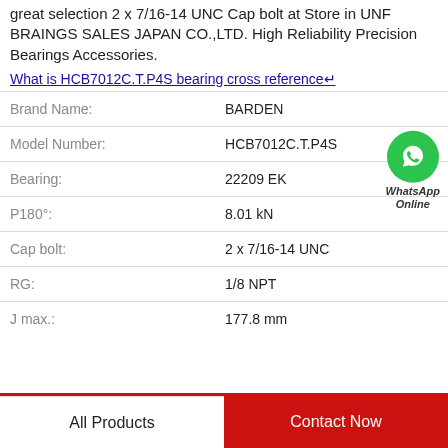great selection 2 x 7/16-14 UNC Cap bolt at Store in UNF BRAINGS SALES JAPAN CO.,LTD. High Reliability Precision Bearings Accessories.
What is HCB7012C.T.P4S bearing cross reference↵
| Field | Value |
| --- | --- |
| Brand Name: | BARDEN |
| Model Number: | HCB7012C.T.P4S |
| Bearing: | 22209 EK |
| P180°: | 8.01 kN |
| Cap bolt: | 2 x 7/16-14 UNC |
| RG: | 1/8 NPT |
| J max.: | 177.8 mm |
[Figure (logo): WhatsApp Online green circle badge with phone icon and text 'WhatsApp Online']
All Products
Contact Now